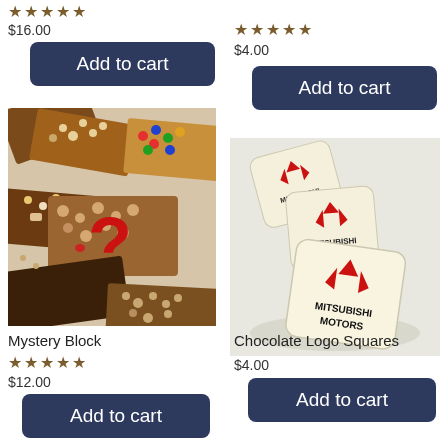★★★★★
$16.00
Add to cart
★★★★★
$4.00
Add to cart
[Figure (photo): Assorted chocolate bars with toppings and a red question mark overlay]
[Figure (photo): White chocolate squares with Mitsubishi Motors logo printed on them]
Mystery Block
★★★★★
$12.00
Add to cart
Chocolate Logo Squares
$4.00
Add to cart